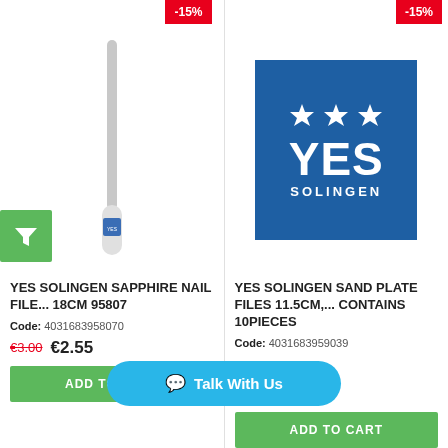-15%
[Figure (other): Green filter/funnel icon button]
[Figure (photo): YES Solingen sapphire nail file, slim elongated tool, gray/silver color, 18cm]
YES SOLINGEN SAPPHIRE NAIL FILE... 18CM 95807
Code: 4031683958070
€3.00  €2.55
ADD TO CART
-15%
[Figure (logo): YES Solingen logo — blue square with three white stars at top and large white bold text YES, below SOLINGEN in smaller white letters]
YES SOLINGEN SAND PLATE FILES 11.5CM,... CONTAINS 10PIECES
Code: 4031683959039
ADD TO CART
💬 Talk With Us